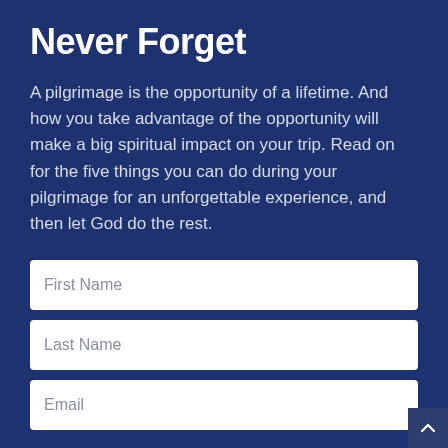Never Forget
A pilgrimage is the opportunity of a lifetime. And how you take advantage of the opportunity will make a big spiritual impact on your trip. Read on for the five things you can do during your pilgrimage for an unforgettable experience, and then let God do the rest.
First Name
Last Name
Email